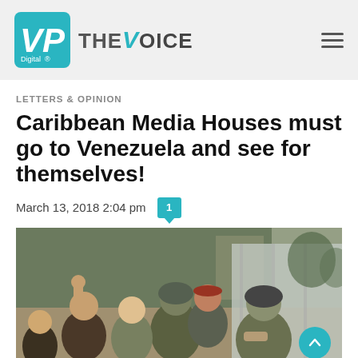VP Digital | THE VOICE
LETTERS & OPINION
Caribbean Media Houses must go to Venezuela and see for themselves!
March 13, 2018 2:04 pm
[Figure (photo): Protest scene showing demonstrators clashing with riot police/military personnel in Venezuela. A man raises his fist while riot-gear-clad officers push against protesters near a wall.]